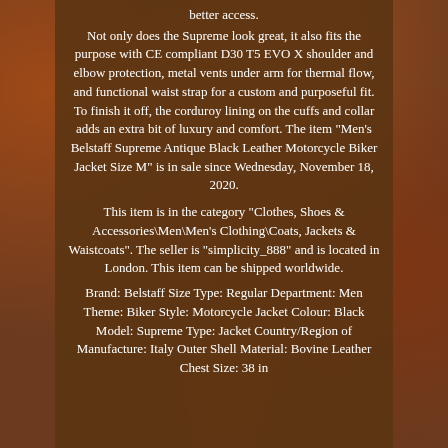better access.
Not only does the Supreme look great, it also fits the purpose with CE compliant D30 T5 EVO X shoulder and elbow protection, metal vents under arm for thermal flow, and functional waist strap for a custom and purposeful fit. To finish it off, the corduroy lining on the cuffs and collar adds an extra bit of luxury and comfort. The item "Men's Belstaff Supreme Antique Black Leather Motorcycle Biker Jacket Size M" is in sale since Wednesday, November 18, 2020.
This item is in the category "Clothes, Shoes & Accessories\Men\Men's Clothing\Coats, Jackets & Waistcoats". The seller is "simplicity_888" and is located in London. This item can be shipped worldwide.
Brand: Belstaff Size Type: Regular Department: Men Theme: Biker Style: Motorcycle Jacket Colour: Black Model: Supreme Type: Jacket Country/Region of Manufacture: Italy Outer Shell Material: Bovine Leather Chest Size: 38 in